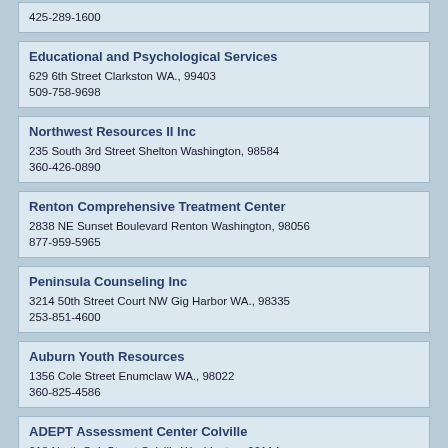425-289-1600
Educational and Psychological Services
629 6th Street Clarkston WA., 99403
509-758-9698
Northwest Resources II Inc
235 South 3rd Street Shelton Washington, 98584
360-426-0890
Renton Comprehensive Treatment Center
2838 NE Sunset Boulevard Renton Washington, 98056
877-959-5965
Peninsula Counseling Inc
3214 50th Street Court NW Gig Harbor WA., 98335
253-851-4600
Auburn Youth Resources
1356 Cole Street Enumclaw WA., 98022
360-825-4586
ADEPT Assessment Center Colville
218 North Oak Street Colville Washington, 99114
509-684-2349